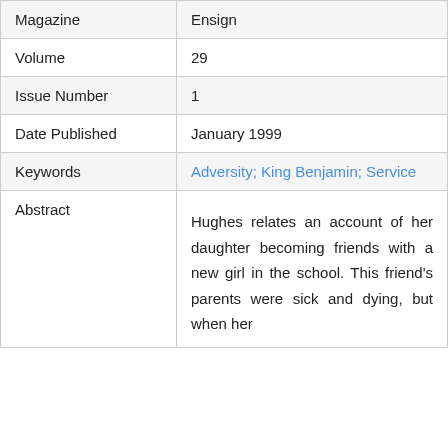| Field | Value |
| --- | --- |
| Magazine | Ensign |
| Volume | 29 |
| Issue Number | 1 |
| Date Published | January 1999 |
| Keywords | Adversity; King Benjamin; Service |
| Abstract | Hughes relates an account of her daughter becoming friends with a new girl in the school. This friend's parents were sick and dying, but when her |